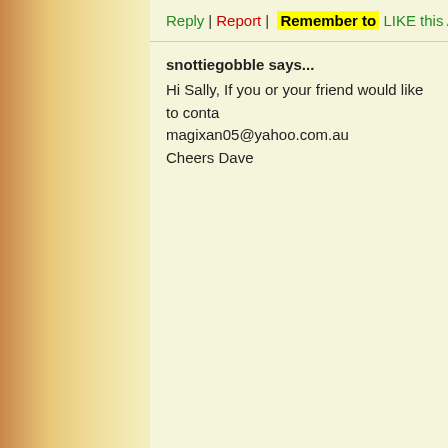Reply | Report | Remember to LIKE this Answ...
snottiegobble says...
Hi Sally, If you or your friend would like to conta...
magixan05@yahoo.com.au
Cheers Dave
Reply | Report | Remember to LIKE this Answ...
rev says...
ive never had luck with babaco
its got a narrow tolerance

im trying its parent